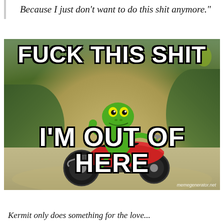Because I just don't want to do this shit anymore."
[Figure (photo): Meme image of Kermit the Frog riding a red scooter/motorcycle on a sandy path with green vegetation in the background. Bold white Impact-font text with black outline reads 'FUCK THIS SHIT' at the top and "I'M OUT OF HERE" at the bottom. Watermark reads 'memegenerator.net'.]
Kermit only does something for the love...